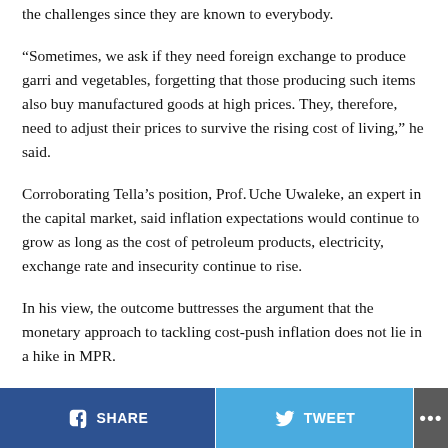the challenges since they are known to everybody.
“Sometimes, we ask if they need foreign exchange to produce garri and vegetables, forgetting that those producing such items also buy manufactured goods at high prices. They, therefore, need to adjust their prices to survive the rising cost of living,” he said.
Corroborating Tella’s position, Prof. Uche Uwaleke, an expert in the capital market, said inflation expectations would continue to grow as long as the cost of petroleum products, electricity, exchange rate and insecurity continue to rise.
In his view, the outcome buttresses the argument that the monetary approach to tackling cost-push inflation does not lie in a hike in MPR.
SHARE   TWEET   ...